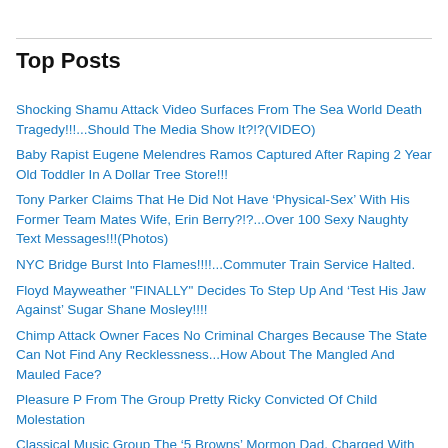Top Posts
Shocking Shamu Attack Video Surfaces From The Sea World Death Tragedy!!!...Should The Media Show It?!?(VIDEO)
Baby Rapist Eugene Melendres Ramos Captured After Raping 2 Year Old Toddler In A Dollar Tree Store!!!
Tony Parker Claims That He Did Not Have ‘Physical-Sex’ With His Former Team Mates Wife, Erin Berry?!?...Over 100 Sexy Naughty Text Messages!!!(Photos)
NYC Bridge Burst Into Flames!!!!...Commuter Train Service Halted.
Floyd Mayweather "FINALLY" Decides To Step Up And ‘Test His Jaw Against’ Sugar Shane Mosley!!!!
Chimp Attack Owner Faces No Criminal Charges Because The State Can Not Find Any Recklessness...How About The Mangled And Mauled Face?
Pleasure P From The Group Pretty Ricky Convicted Of Child Molestation
Classical Music Group The ‘5 Browns’ Mormon Dad, Charged With